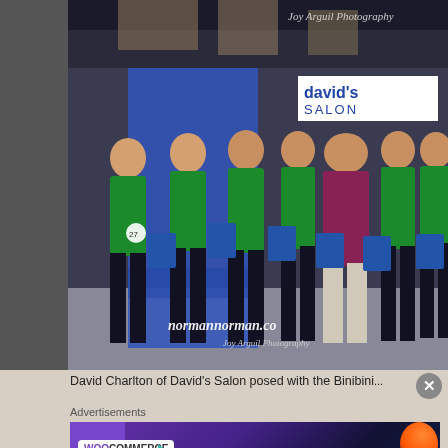[Figure (photo): Top strip: partial photo of shoes/floor area at a salon event, with 'Joy Arguil Photography' watermark on the right]
[Figure (photo): Group photo of David Charlton of David's Salon posed with Binibini contestants wearing green outfits and holding blue David's Salon bags, in front of a blue banner and David's Salon sign. Watermark: normannorman.com and Joy Arguil Photography]
David Charlton of David's Salon posed with the Binibini...
Advertisements
[Figure (infographic): WooCommerce advertisement banner: 'Turn your hobby into a business in 8 steps' with WooCommerce logo, teal arrow, orange and blue decorative shapes on dark background]